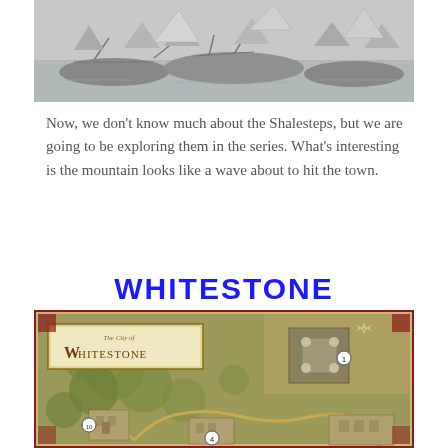[Figure (illustration): Grayscale illustration of boats/ships docked at a harbor with buildings and tents in the background]
Now, we don't know much about the Shalesteps, but we are going to be exploring them in the series. What's interesting is the mountain looks like a wave about to hit the town.
WHITESTONE
[Figure (map): Fantasy map of The City of Whitestone, showing a detailed illustrated city map with fortifications, forest areas, numbered locations, and decorative borders]